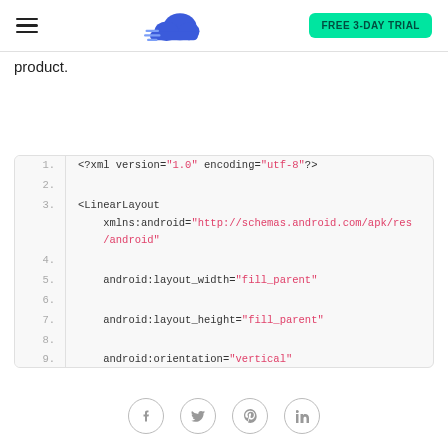FREE 3-DAY TRIAL
product.
[Figure (screenshot): XML code block showing Android LinearLayout XML with line numbers 1-12. Line 1: <?xml version="1.0" encoding="utf-8"?>, Line 3: <LinearLayout xmlns:android="http://schemas.android.com/apk/res/android", Line 5: android:layout_width="fill_parent", Line 7: android:layout_height="fill_parent", Line 9: android:orientation="vertical", Line 11: android:gravity="center_horizontal">]
Social icons: Facebook, Twitter, Pinterest, LinkedIn